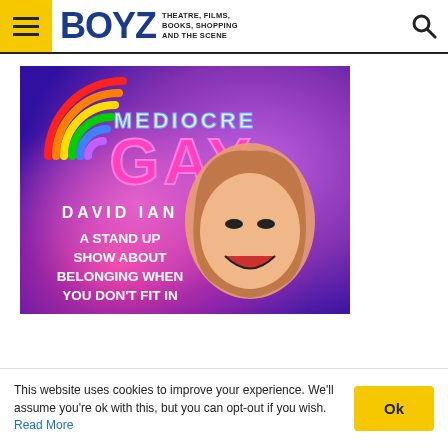BOYZ — THEATRE, FILMS, BOOKS, SHOPPING AND THE SCENE
[Figure (illustration): Promotional poster for 'Mediocre Gay' stand-up show by David Ian. Colorful rainbow logo, pink and purple background, laughing performer. Text: MEDIOCRE GAY / DAVID IAN / A STAND UP SHOW ABOUT BELONGING WHEN YOU DON'T FIT IN]
This website uses cookies to improve your experience. We'll assume you're ok with this, but you can opt-out if you wish. Read More